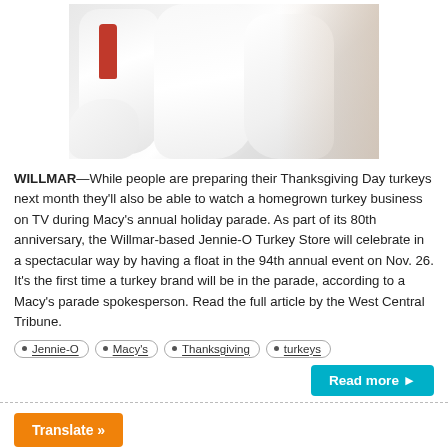[Figure (photo): Workers constructing large white foam/fiberglass turkey float sculptures in a warehouse setting. Person in red shirt visible on the left working on the white figures.]
WILLMAR—While people are preparing their Thanksgiving Day turkeys next month they'll also be able to watch a homegrown turkey business on TV during Macy's annual holiday parade. As part of its 80th anniversary, the Willmar-based Jennie-O Turkey Store will celebrate in a spectacular way by having a float in the 94th annual event on Nov. 26. It's the first time a turkey brand will be in the parade, according to a Macy's parade spokesperson. Read the full article by the West Central Tribune.
Jennie-O
Macy's
Thanksgiving
turkeys
Read more ▶
Translate »